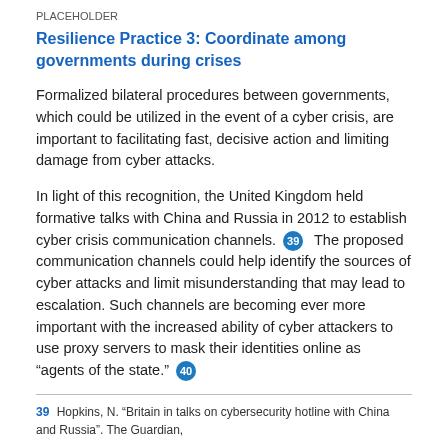PLACEHOLDER
Resilience Practice 3: Coordinate among governments during crises
Formalized bilateral procedures between governments, which could be utilized in the event of a cyber crisis, are important to facilitating fast, decisive action and limiting damage from cyber attacks.
In light of this recognition, the United Kingdom held formative talks with China and Russia in 2012 to establish cyber crisis communication channels. [39] The proposed communication channels could help identify the sources of cyber attacks and limit misunderstanding that may lead to escalation. Such channels are becoming ever more important with the increased ability of cyber attackers to use proxy servers to mask their identities online as “agents of the state.” [40]
39  Hopkins, N. “Britain in talks on cybersecurity hotline with China and Russia”. The Guardian,